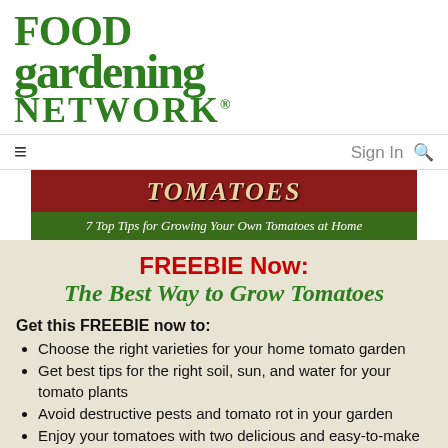[Figure (logo): Food Gardening Network logo in dark green serif bold text]
≡   Sign In 🔍
[Figure (screenshot): Promotional banner with red background showing 'TOMATOES' text, below it a green banner reading '7 Top Tips for Growing Your Own Tomatoes at Home']
FREEBIE Now:
The Best Way to Grow Tomatoes
Get this FREEBIE now to:
Choose the right varieties for your home tomato garden
Get best tips for the right soil, sun, and water for your tomato plants
Avoid destructive pests and tomato rot in your garden
Enjoy your tomatoes with two delicious and easy-to-make recipes